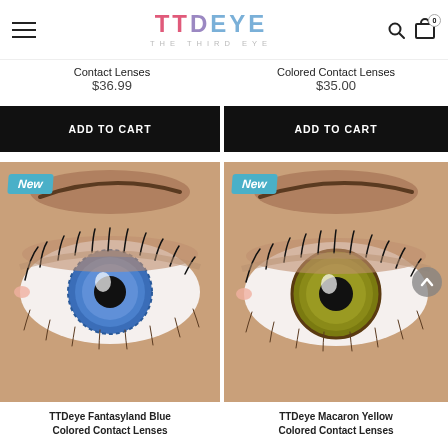[Figure (logo): TTDeye The Third Eye logo with hamburger menu, search icon, and cart icon with 0 badge]
Contact Lenses
$36.99
Colored Contact Lenses
$35.00
ADD TO CART
ADD TO CART
[Figure (photo): Close-up of an eye wearing TTDeye Fantasyland Blue colored contact lenses with 'New' badge]
[Figure (photo): Close-up of an eye wearing TTDeye Macaron Yellow colored contact lenses with 'New' badge]
TTDeye Fantasyland Blue Colored Contact Lenses
TTDeye Macaron Yellow Colored Contact Lenses